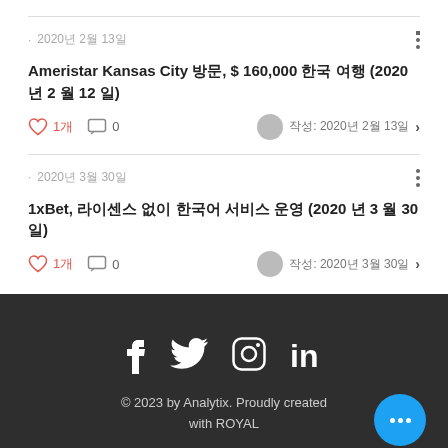· 2020년 2월 13일
Ameristar Kansas City 방문, $ 160,000 한국 여행 (2020 년 2 월 12 일)
1개 0  작성: 2020년 2월 13일 >
· 2020년 3월 30일
1xBet, 라이센스 없이 한국어 서비스 운영 (2020 년 3 월 30 일)
1개 0  작성: 2020년 3월 30일 >
© 2023 by Analytix. Proudly created with ROYAL